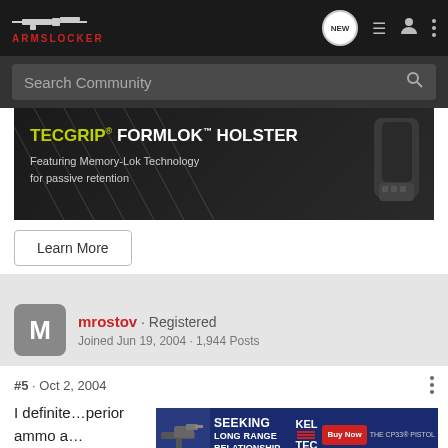ArmsLocker - Search Community
[Figure (screenshot): ArmsLocker website header with logo, navigation icons (NEW, list, user, dots), and search bar labeled 'Search Community']
[Figure (photo): TECGRIP FORMLOK HOLSTER advertisement banner. Text: TECGRIP® FORMLOK™ HOLSTER - Featuring Memory-Lok Technology for passive retention. Shows holster product image on right.]
Learn More
mrostov · Registered
Joined Jun 19, 2004 · 1,944 Posts
#5 · Oct 2, 2004
I definite...perior ammo a...
[Figure (screenshot): Kel-Tec advertisement: SEEKING LONG RANGE RELATIONSHIP - THE CP33® PISTOL - Buy Now]